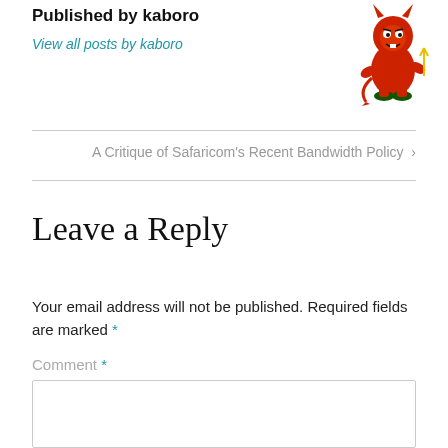Published by kaboro
View all posts by kaboro
[Figure (illustration): Red cartoon devil mascot character holding a trident, standing]
A Critique of Safaricom's Recent Bandwidth Policy ›
Leave a Reply
Your email address will not be published. Required fields are marked *
Comment *